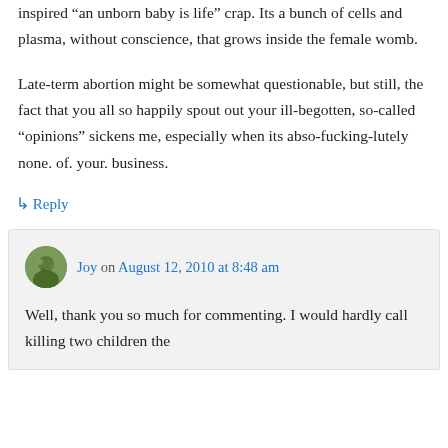inspired “an unborn baby is life” crap. Its a bunch of cells and plasma, without conscience, that grows inside the female womb.
Late-term abortion might be somewhat questionable, but still, the fact that you all so happily spout out your ill-begotten, so-called “opinions” sickens me, especially when its abso-fucking-lutely none. of. your. business.
↳ Reply
Joy on August 12, 2010 at 8:48 am
Well, thank you so much for commenting. I would hardly call killing two children the